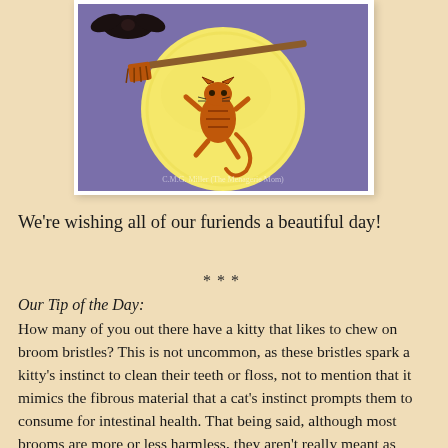[Figure (illustration): Illustration of a tabby cat riding a broomstick in front of a large yellow moon against a purple sky, with a bat visible at the top. Watermark reads 'C.M.G. Miller (The Menagerie Mom)'.]
We're wishing all of our furiends a beautiful day!
***
Our Tip of the Day:
How many of you out there have a kitty that likes to chew on broom bristles? This is not uncommon, as these bristles spark a kitty's instinct to clean their teeth or floss, not to mention that it mimics the fibrous material that a cat's instinct prompts them to consume for intestinal health. That being said, although most brooms are more or less harmless, they aren't really meant as proper kitty chew toys or consumables. Instead, to give your cat a